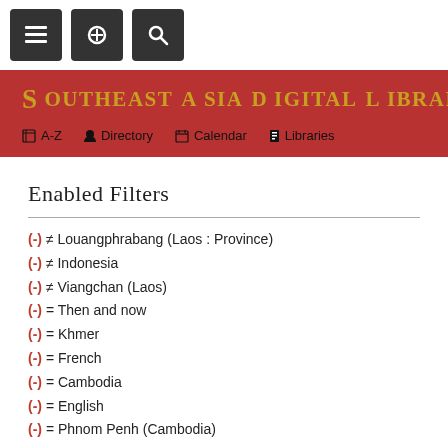Navigation toolbar with menu, link, and search buttons
[Figure (logo): Southeast Asia Digital Library logo with golden text on red background and decorative emblem]
Enabled Filters
(-) ≠ Louangphrabang (Laos : Province)
(-) ≠ Indonesia
(-) ≠ Viangchan (Laos)
(-) = Then and now
(-) = Khmer
(-) = French
(-) = Cambodia
(-) = English
(-) = Phnom Penh (Cambodia)